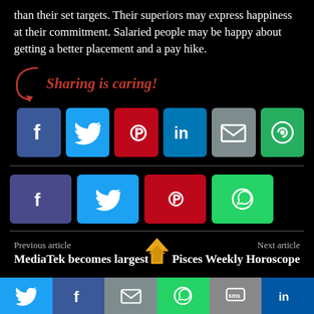than their set targets. Their superiors may express happiness at their commitment. Salaried people may be happy about getting a better placement and a pay hike.
[Figure (infographic): Sharing is caring! section with social media share buttons: Facebook (blue), Twitter (blue), Pinterest (red), LinkedIn (blue), Email (gray), and a green circular share button.]
[Figure (infographic): Second row of smaller social share buttons: Facebook (blue/purple), Twitter (cyan), Pinterest (red), WhatsApp (green).]
Previous article
MediaTek becomes largest
Next article
Pisces Weekly Horoscope
[Figure (infographic): Bottom navigation bar with social share icons: Twitter (blue), Facebook (blue), Email (gray), WhatsApp (green), SMS (gray), LinkedIn (dark blue).]